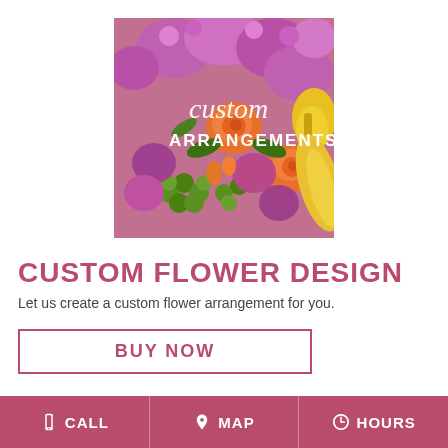[Figure (photo): A colorful custom flower arrangement with purple, orange, and yellow flowers. Text overlay reads 'custom ARRANGEMENTS' in cursive and bold white lettering.]
CUSTOM FLOWER DESIGN
Let us create a custom flower arrangement for you.
BUY NOW
CALL  MAP  HOURS